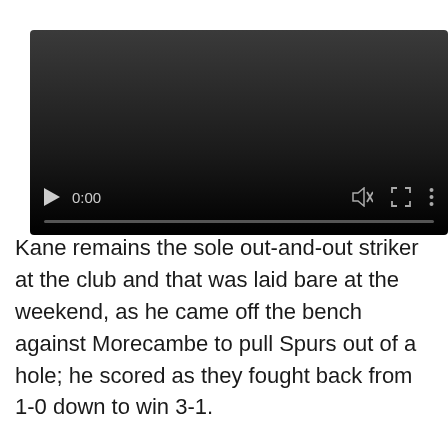[Figure (screenshot): Video player with dark background, play button, time display showing 0:00, mute icon, fullscreen icon, and more options icon, with a progress bar at the bottom]
Kane remains the sole out-and-out striker at the club and that was laid bare at the weekend, as he came off the bench against Morecambe to pull Spurs out of a hole; he scored as they fought back from 1-0 down to win 3-1.